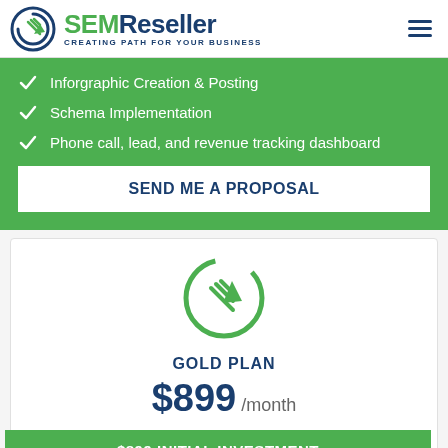[Figure (logo): SEMReseller logo with circular arrow icon, text reads SEM in green, Reseller in dark blue, subtitle CREATING PATH FOR YOUR BUSINESS]
Inforgraphic Creation & Posting
Schema Implementation
Phone call, lead, and revenue tracking dashboard
SEND ME A PROPOSAL
[Figure (logo): SEMReseller circular arrow icon in green]
GOLD PLAN
$899 /month
$899 INITIAL INVESTMENT